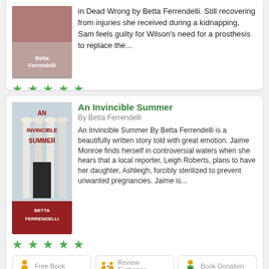[Figure (illustration): Book cover for Dead Wrong by Betta Ferrendelli, partial view at top]
in Dead Wrong by Betta Ferrendelli. Still recovering from injuries she received during a kidnapping, Sam feels guilty for Wilson's need for a prosthesis to replace the...
[Figure (illustration): Five green stars rating]
[Figure (illustration): Free Book, Review Exchange, Book Donation buttons]
[Figure (illustration): Book cover for An Invincible Summer by Betta Ferrendelli]
An Invincible Summer
By Betta Ferrendelli
An Invincible Summer By Betta Ferrendelli is a beautifully written story told with great emotion. Jaime Monroe finds herself in controversial waters when she hears that a local reporter, Leigh Roberts, plans to have her daughter, Ashleigh, forcibly sterilized to prevent unwanted pregnancies. Jaime is...
[Figure (illustration): Five green stars rating]
[Figure (illustration): Free Book, Review Exchange, Book Donation buttons]
[Figure (illustration): Book cover for Last Things by Betta Ferrendelli, partial view]
Last Things
By Betta Ferrendelli